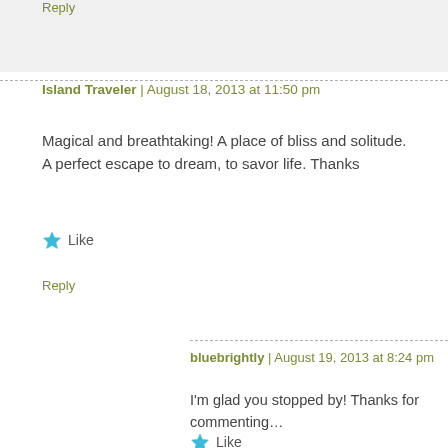Reply
Island Traveler | August 18, 2013 at 11:50 pm
Magical and breathtaking! A place of bliss and solitude. A perfect escape to dream, to savor life. Thanks
Like
Reply
bluebrightly | August 19, 2013 at 8:24 pm
I'm glad you stopped by! Thanks for commenting…
Like
Reply